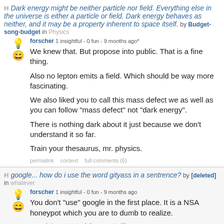Dark energy might be neither particle nor field. Everything else in the universe is either a particle or field. Dark energy behaves as neither, and it may be a property inherent to space itself. by Budget-song-budget in Physics
forscher 1 insightful - 0 fun - 9 months ago*
We knew that. But propose into public. That is a fine thing.

Also no lepton emits a field. Which should be way more fascinating.

We also liked you to call this mass defect we as well as you can follow "mass defect" not "dark energy".

There is nothing dark about it just because we don't understand it so far.

Train your thesaurus, mr. physics.
permalink   context   full comments (6)
google... how do i use the word gityass in a sentrence? by [deleted] in whatever
forscher 1 insightful - 0 fun - 9 months ago
You don't "use" google in the first place. It is a NSA honeypot which you are to dumb to realize.
permalink   context   full comments (3)